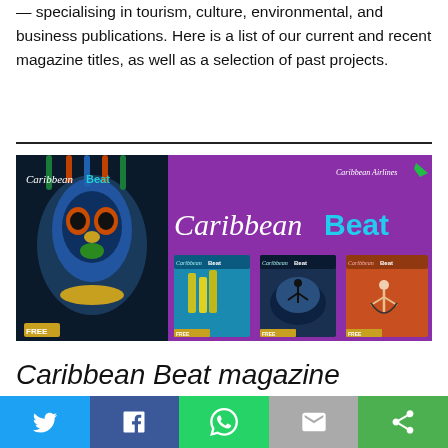— specialising in tourism, culture, environmental, and business publications. Here is a list of our current and recent magazine titles, as well as a selection of past projects.
[Figure (photo): Caribbean Beat magazine promotional banner showing the magazine covers including a blue face with elaborate headdress on the left, and multiple Caribbean Beat magazine covers on a purple background on the right]
Caribbean Beat magazine
Social share bar with Twitter, Facebook, WhatsApp, Email, and Share buttons